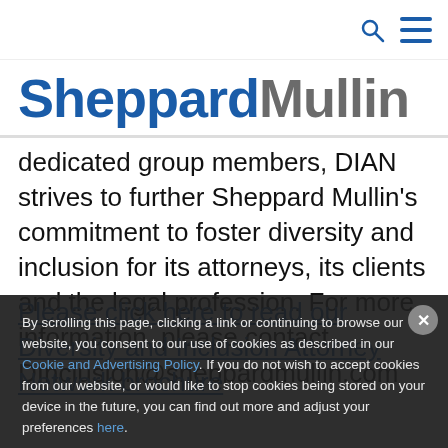Sheppard Mullin — navigation icons (search, menu)
[Figure (logo): Sheppard Mullin logo with 'Sheppard' in blue and 'Mullin' in gray, bold large text]
dedicated group members, DIAN strives to further Sheppard Mullin's commitment to foster diversity and inclusion for its attorneys, its clients and the legal profession. For more information, please contact DInclusion@sheppardmullin.com
Please click here to read our Diversity and Inclusion Attorney Network brochure
By scrolling this page, clicking a link or continuing to browse our website, you consent to our use of cookies as described in our Cookie and Advertising Policy. If you do not wish to accept cookies from our website, or would like to stop cookies being stored on your device in the future, you can find out more and adjust your preferences here.